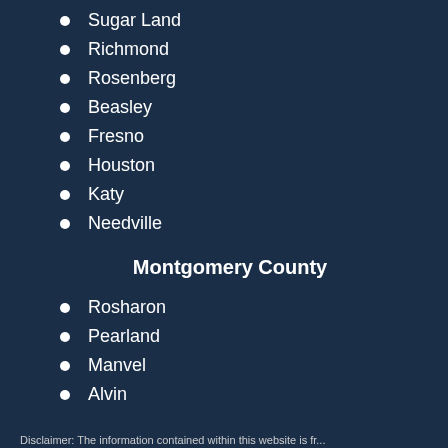Sugar Land
Richmond
Rosenberg
Beasley
Fresno
Houston
Katy
Needville
Montgomery County
Rosharon
Pearland
Manvel
Alvin
Disclaimer: The information contained within this website is fr...